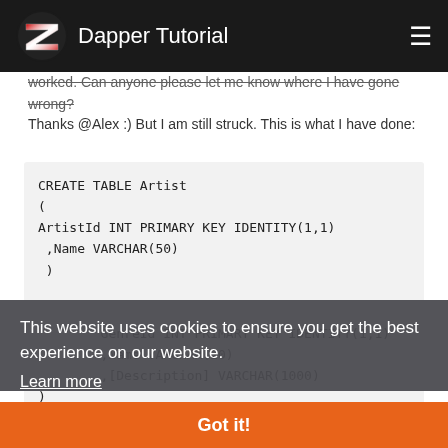Dapper Tutorial
worked. Can anyone please let me know where I have gone wrong?
Thanks @Alex :) But I am still struck. This is what I have done:
CREATE TABLE Artist
(
ArtistId INT PRIMARY KEY IDENTITY(1,1)
,Name VARCHAR(50)
)
(
GenreId INT PRIMARY KEY IDENTITY(1,1)
,Name VARCHAR(20)
,[Description] VARCHAR(1000)
)
This website uses cookies to ensure you get the best experience on our website.
Learn more
Got it!